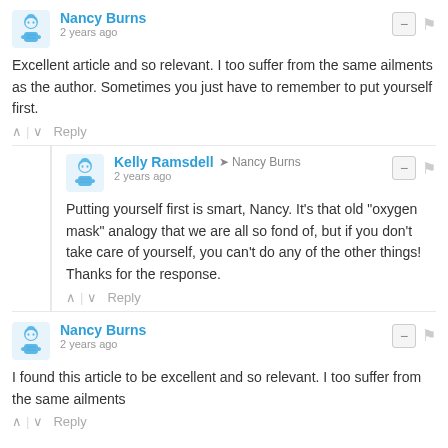Nancy Burns
2 years ago
Excellent article and so relevant. I too suffer from the same ailments as the author. Sometimes you just have to remember to put yourself first.
^ | v  Reply
Kelly Ramsdell → Nancy Burns
2 years ago
Putting yourself first is smart, Nancy. It's that old "oxygen mask" analogy that we are all so fond of, but if you don't take care of yourself, you can't do any of the other things! Thanks for the response.
^ | v  Reply
Nancy Burns
2 years ago
I found this article to be excellent and so relevant. I too suffer from the same ailments
^ | v  Reply